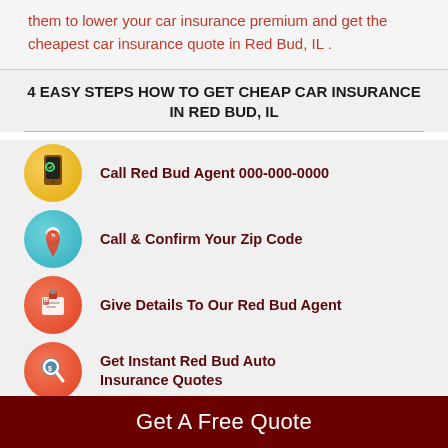them to lower your car insurance premium and get the cheapest car insurance quote in Red Bud, IL .
4 EASY STEPS HOW TO GET CHEAP CAR INSURANCE IN RED BUD, IL
Call Red Bud Agent 000-000-0000
Call & Confirm Your Zip Code
Give Details To Our Red Bud Agent
Get Instant Red Bud Auto Insurance Quotes
Get A Free Quote